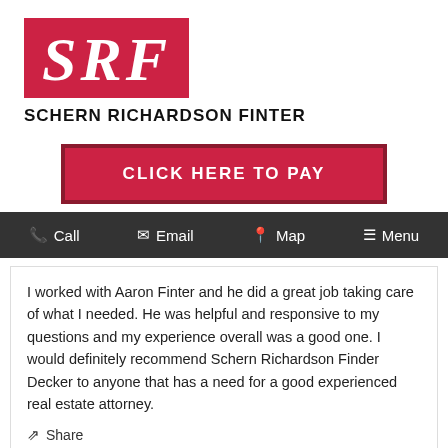[Figure (logo): SRF logo — red rectangle with large white italic serif letters SRF, and below it the text SCHERN RICHARDSON FINTER in bold black]
CLICK HERE TO PAY
Call  Email  Map  Menu
I worked with Aaron Finter and he did a great job taking care of what I needed. He was helpful and responsive to my questions and my experience overall was a good one. I would definitely recommend Schern Richardson Finder Decker to anyone that has a need for a good experienced real estate attorney.
Share